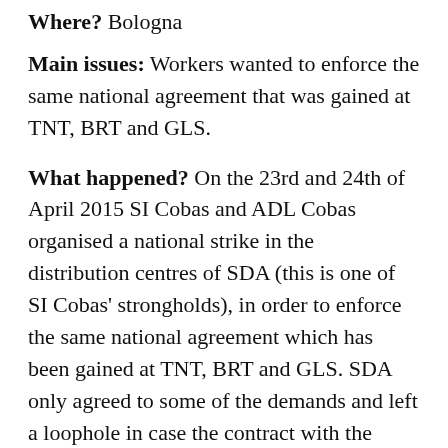Where? Bologna
Main issues: Workers wanted to enforce the same national agreement that was gained at TNT, BRT and GLS.
What happened? On the 23rd and 24th of April 2015 SI Cobas and ADL Cobas organised a national strike in the distribution centres of SDA (this is one of SI Cobas' strongholds), in order to enforce the same national agreement which has been gained at TNT, BRT and GLS. SDA only agreed to some of the demands and left a loophole in case the contract with the cooperatives changes.
Outcome: In response to the national strike SDA decided to close the distribution centre in Bologna between 27th of April and 12th of May, affecting around 500 workers. Militants told us that the work was